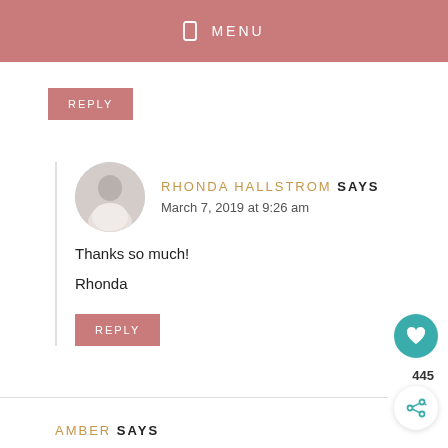MENU
REPLY
RHONDA HALLSTROM SAYS
March 7, 2019 at 9:26 am

Thanks so much!
Rhonda
REPLY
AMBER SAYS